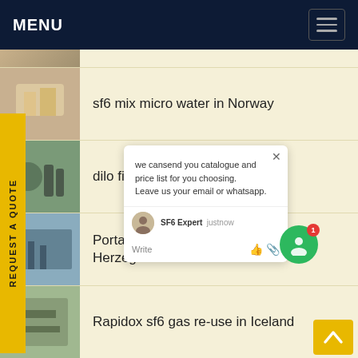MENU
sf6 mix micro water in Norway
dilo filled in Fiji
Portable sf6 mixture filling and Herzegovina
Rapidox sf6 gas re-use in Iceland
abb sf6 gas reuse in Guinea-Bissau
fluke sf6 n2 Refill in Iran
we cansend you catalogue and price list for you choosing.
Leave us your email or whatsapp.
SF6 Expert  justnow
Write
REQUEST A QUOTE